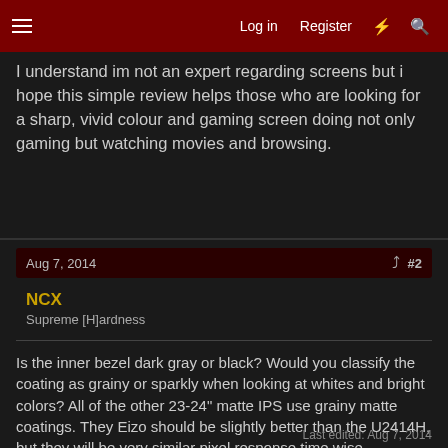Log in | Register | # | Search
I understand im not an expert regarding screens but i hope this simple review helps those who are looking for a sharp, vivid colour and gaming screen doing not only gaming but watching movies and browsing.
Aug 7, 2014   #2
NCX
Supreme [H]ardness
Is the inner bezel dark gray or black? Would you classify the coating as grainy or sparkly when looking at whites and bright colors? All of the other 23-24" matte IPS use grainy matte coatings. They Eizo should be slightly better than the U2414H, but they will be very similar pixel response time wise regardless of the specifications. Lastly, where did you buy it?
Last edited: Aug 7, 2014